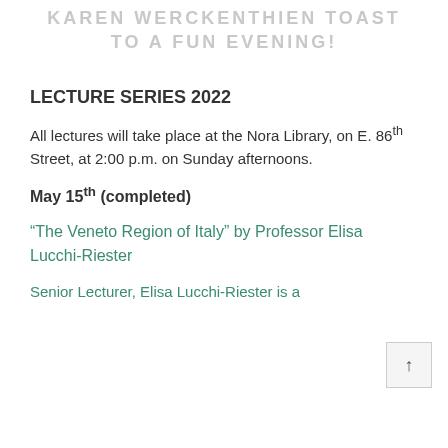KAREN WERCKENTHIEN TOAST TO A FUN EVENING!
LECTURE SERIES 2022
All lectures will take place at the Nora Library, on E. 86th Street, at 2:00 p.m. on Sunday afternoons.
May 15th (completed)
“The Veneto Region of Italy” by Professor Elisa Lucchi-Riester
Senior Lecturer, Elisa Lucchi-Riester is a